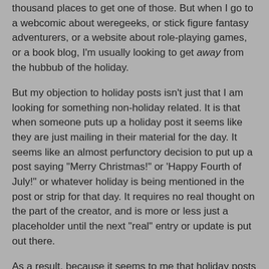thousand places to get one of those. But when I go to a webcomic about weregeeks, or stick figure fantasy adventurers, or a website about role-playing games, or a book blog, I'm usually looking to get away from the hubbub of the holiday.
But my objection to holiday posts isn't just that I am looking for something non-holiday related. It is that when someone puts up a holiday post it seems like they are just mailing in their material for the day. It seems like an almost perfunctory decision to put up a post saying "Merry Christmas!" or 'Happy Fourth of July!" or whatever holiday is being mentioned in the post or strip for that day. It requires no real thought on the part of the creator, and is more or less just a placeholder until the next "real" entry or update is put out there.
As a result, because it seems to me that holiday posts are so boringly routine, and because they seem almost lazy in a way, I dislike them, and I rarely post them.
Biased Opinions    Home